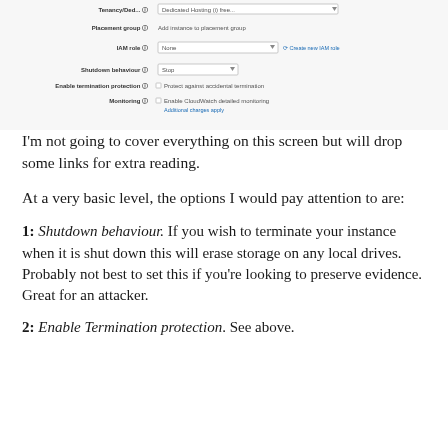[Figure (screenshot): AWS EC2 instance configuration form screenshot showing fields for Placement group, IAM role, Shutdown behaviour, Enable termination protection, and Monitoring with their respective options and controls.]
I'm not going to cover everything on this screen but will drop some links for extra reading.
At a very basic level, the options I would pay attention to are:
1: Shutdown behaviour. If you wish to terminate your instance when it is shut down this will erase storage on any local drives. Probably not best to set this if you're looking to preserve evidence. Great for an attacker.
2: Enable Termination protection. See above.